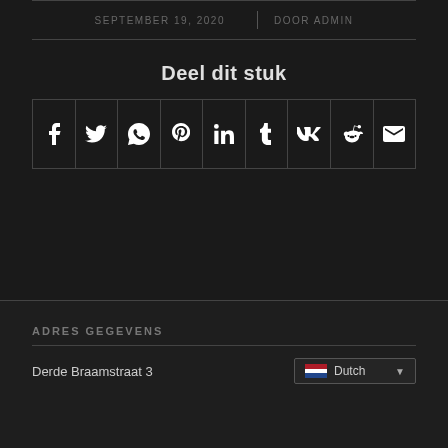SEPTEMBER 19, 2020 | DOOR ADMIN
Deel dit stuk
[Figure (infographic): Social share icons row: Facebook, Twitter, WhatsApp, Pinterest, LinkedIn, Tumblr, VK, Reddit, Email]
ADRES GEGEVENS
Derde Braamstraat 3